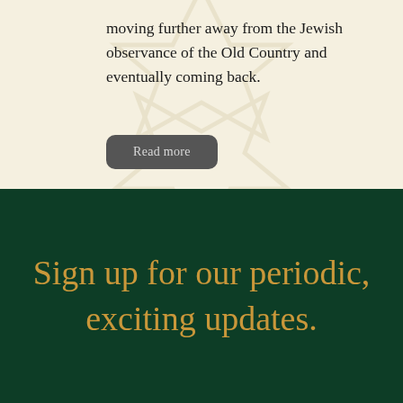moving further away from the Jewish observance of the Old Country and eventually coming back.
Read more
Sign up for our periodic, exciting updates.